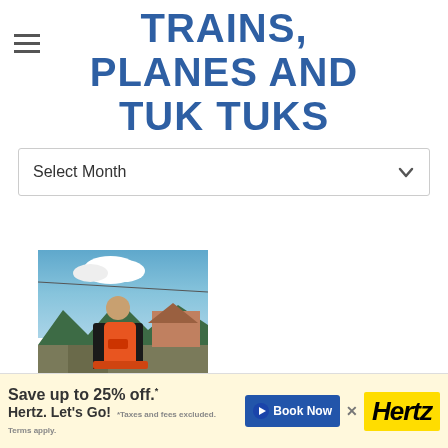TRAINS, PLANES AND TUK TUKS
Select Month
[Figure (photo): Person wearing black shirt and orange backpack standing on a street with mountains and blue sky in background]
Save up to 25% off.* Hertz. Let's Go! *Taxes and fees excluded. Terms apply.
Book Now
Hertz